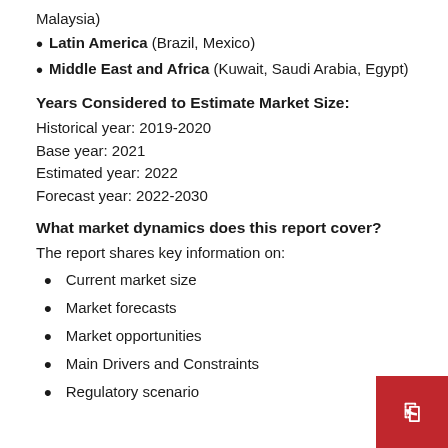Malaysia)
Latin America (Brazil, Mexico)
Middle East and Africa (Kuwait, Saudi Arabia, Egypt)
Years Considered to Estimate Market Size:
Historical year: 2019-2020
Base year: 2021
Estimated year: 2022
Forecast year: 2022-2030
What market dynamics does this report cover?
The report shares key information on:
Current market size
Market forecasts
Market opportunities
Main Drivers and Constraints
Regulatory scenario